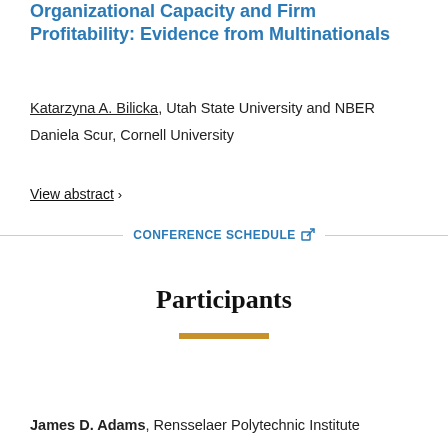Organizational Capacity and Firm Profitability: Evidence from Multinationals
Katarzyna A. Bilicka, Utah State University and NBER
Daniela Scur, Cornell University
View abstract >
CONFERENCE SCHEDULE
Participants
James D. Adams, Rensselaer Polytechnic Institute